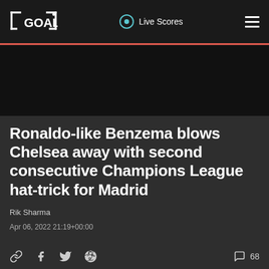GOAL | Live Scores
Ronaldo-like Benzema blows Chelsea away with second consecutive Champions League hat-trick for Madrid
Rik Sharma
Apr 06, 2022 21:19+00:00